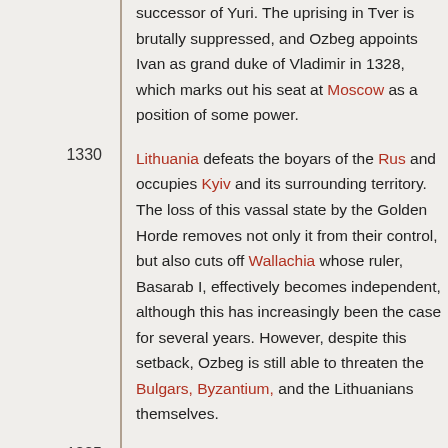successor of Yuri. The uprising in Tver is brutally suppressed, and Ozbeg appoints Ivan as grand duke of Vladimir in 1328, which marks out his seat at Moscow as a position of some power.
1330: Lithuania defeats the boyars of the Rus and occupies Kyiv and its surrounding territory. The loss of this vassal state by the Golden Horde removes not only it from their control, but also cuts off Wallachia whose ruler, Basarab I, effectively becomes independent, although this has increasingly been the case for several years. However, despite this setback, Ozbeg is still able to threaten the Bulgars, Byzantium, and the Lithuanians themselves.
1335: Almost as soon as he has gained the throne, Arpa Keun of the Persian Il-Khans faces an invasion by the Golden Horde under Ozbeg Khan. This is defeated, but the following year he is attacked by